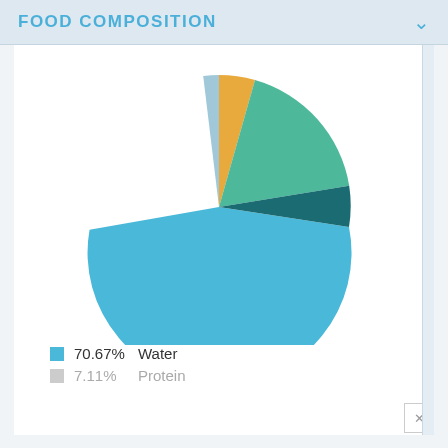FOOD COMPOSITION
[Figure (pie-chart): Food Composition]
70.67%  Water
7.11%  Protein